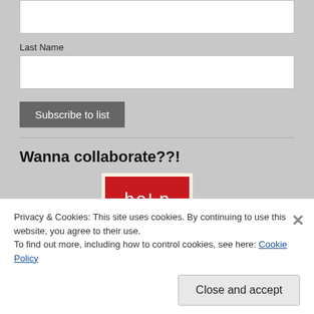[Figure (screenshot): White input text box (top, partially visible)]
Last Name
[Figure (screenshot): White input text box for Last Name]
[Figure (screenshot): Subscribe to list button]
Wanna collaborate??!
[Figure (illustration): Red rectangle with handwritten-style 'help' text in white]
Privacy & Cookies: This site uses cookies. By continuing to use this website, you agree to their use.
To find out more, including how to control cookies, see here: Cookie Policy
Close and accept